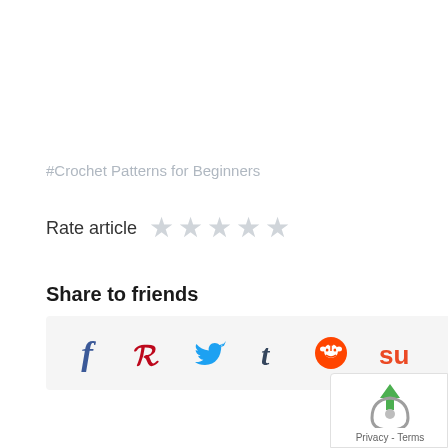#Crochet Patterns for Beginners
Rate article ★★★★★
Share to friends
[Figure (infographic): Social share bar with icons for Facebook, Pinterest, Twitter, Tumblr, Reddit, and StumbleUpon]
[Figure (logo): Privacy/Terms widget with upload icon graphic, showing 'Privacy - Terms' text]